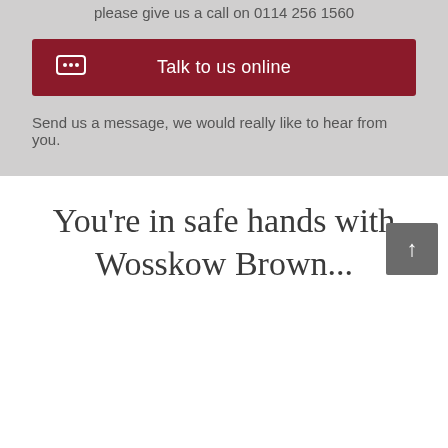please give us a call on 0114 256 1560
[Figure (other): Dark red button with chat icon and text 'Talk to us online']
Send us a message, we would really like to hear from you.
You're in safe hands with Wosskow Brown...